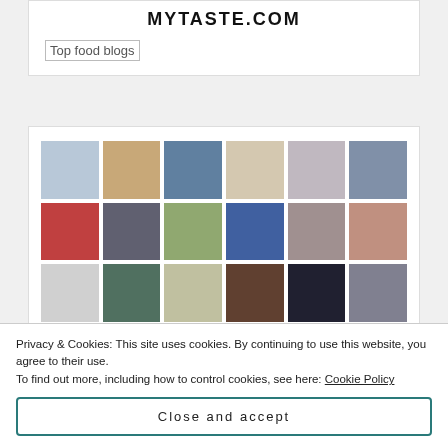MYTASTE.COM
[Figure (other): Top food blogs badge image placeholder]
[Figure (other): Grid of 22+ avatar/profile photos arranged in 6 columns and 4 rows]
Privacy & Cookies: This site uses cookies. By continuing to use this website, you agree to their use.
To find out more, including how to control cookies, see here: Cookie Policy
Close and accept